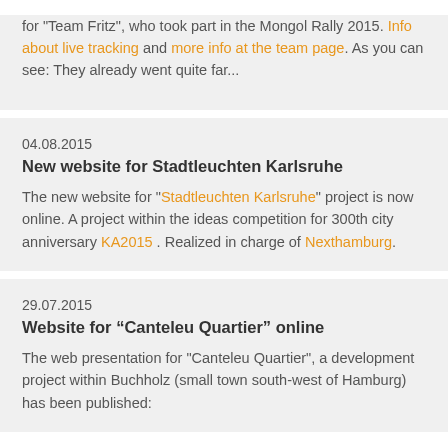for "Team Fritz", who took part in the Mongol Rally 2015. Info about live tracking and more info at the team page. As you can see: They already went quite far...
04.08.2015
New website for Stadtleuchten Karlsruhe
The new website for "Stadtleuchten Karlsruhe" project is now online. A project within the ideas competition for 300th city anniversary KA2015 . Realized in charge of Nexthamburg.
29.07.2015
Website for “Canteleu Quartier” online
The web presentation for "Canteleu Quartier", a development project within Buchholz (small town south-west of Hamburg) has been published: